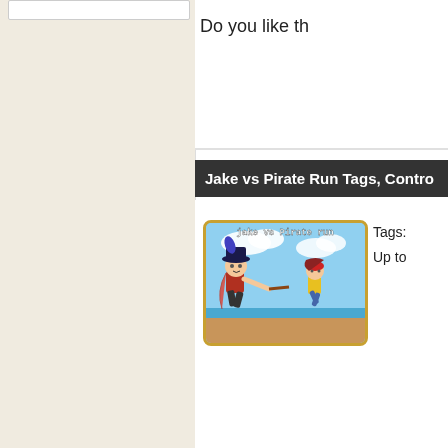Do you like th
Jake vs Pirate Run Tags, Contro
[Figure (screenshot): Jake vs Pirate Run game thumbnail showing a pirate character and a running character on a beach background with the text 'jake vs Pirate run']
Tags:
Up to
Jake vs Pirate Run Related Gam
New Games